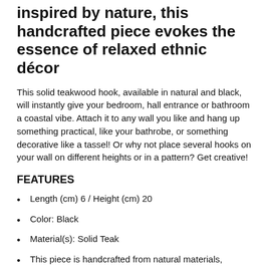inspired by nature, this handcrafted piece evokes the essence of relaxed ethnic décor
This solid teakwood hook, available in natural and black, will instantly give your bedroom, hall entrance or bathroom a coastal vibe. Attach it to any wall you like and hang up something practical, like your bathrobe, or something decorative like a tassel! Or why not place several hooks on your wall on different heights or in a pattern? Get creative!
FEATURES
Length (cm) 6 / Height (cm) 20
Color: Black
Material(s): Solid Teak
This piece is handcrafted from natural materials, allowing